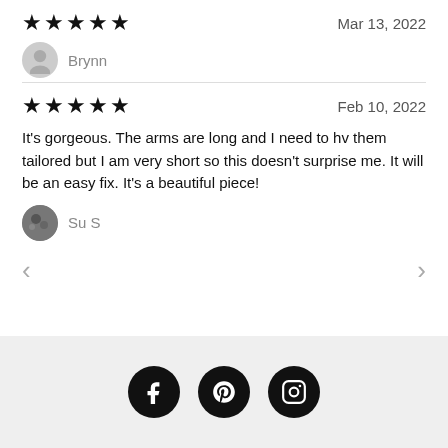★★★★★  Mar 13, 2022
Brynn
★★★★★  Feb 10, 2022
It's gorgeous. The arms are long and I need to hv them tailored but I am very short so this doesn't surprise me. It will be an easy fix. It's a beautiful piece!
Su S
[Figure (infographic): Social media footer with Facebook, Pinterest, and Instagram icons on a light grey background]